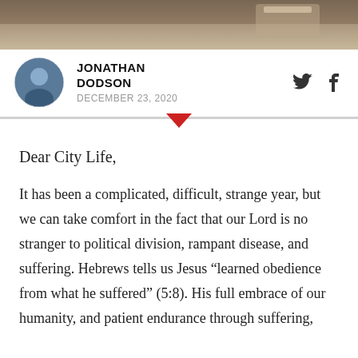[Figure (photo): Banner photo at top of page, showing a blurred image of what appears to be a Bible or book]
[Figure (photo): Circular avatar photo of Jonathan Dodson, a man in a dark jacket]
JONATHAN DODSON
DECEMBER 23, 2020
Dear City Life,
It has been a complicated, difficult, strange year, but we can take comfort in the fact that our Lord is no stranger to political division, rampant disease, and suffering. Hebrews tells us Jesus “learned obedience from what he suffered” (5:8). His full embrace of our humanity, and patient endurance through suffering,